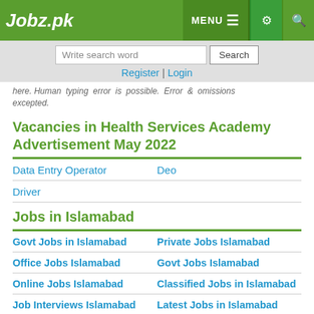Jobz.pk | MENU | settings | search
Write search word [Search]
Register | Login
here. Human typing error is possible. Error & omissions excepted.
Vacancies in Health Services Academy Advertisement May 2022
Data Entry Operator
Deo
Driver
Jobs in Islamabad
Govt Jobs in Islamabad
Private Jobs Islamabad
Office Jobs Islamabad
Govt Jobs Islamabad
Online Jobs Islamabad
Classified Jobs in Islamabad
Job Interviews Islamabad
Latest Jobs in Islamabad
Data Entry Jobs in Islamabad
Nation Jobs Today
Citywise Jobs
Paper Jobs